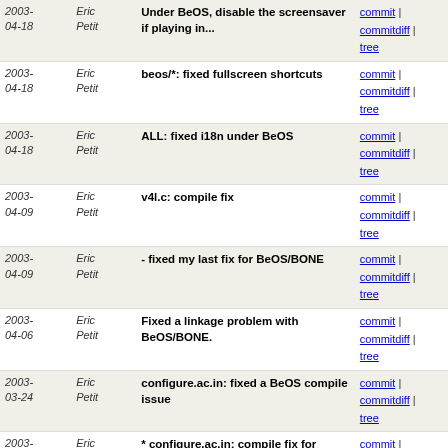| Date | Author | Commit Message | Links |
| --- | --- | --- | --- |
| 2003-04-18 | Eric Petit | Under BeOS, disable the screensaver if playing in... | commit | commitdiff | tree |
| 2003-04-18 | Eric Petit | beos/*: fixed fullscreen shortcuts | commit | commitdiff | tree |
| 2003-04-18 | Eric Petit | ALL: fixed i18n under BeOS | commit | commitdiff | tree |
| 2003-04-09 | Eric Petit | v4l.c: compile fix | commit | commitdiff | tree |
| 2003-04-09 | Eric Petit | - fixed my last fix for BeOS/BONE | commit | commitdiff | tree |
| 2003-04-06 | Eric Petit | Fixed a linkage problem with BeOS/BONE. | commit | commitdiff | tree |
| 2003-03-24 | Eric Petit | configure.ac.in: fixed a BeOS compile issue | commit | commitdiff | tree |
| 2003-03-12 | Eric Petit | * configure.ac.in: compile fix for BeOS/BONE (s/LDFALGS... | commit | commitdiff | tree |
| 2003-03-11 | Eric Petit | modules/misc/network/ipv4.c: BeOS compile fix | commit | commitdiff | tree |
| 2003-02-18 | Eric Petit | * ipv4.c, libvlc.h: add a --ttl option to set time... | commit | commitdiff | tree |
| 2003-02-16 | Eric Petit | NEWS: updated BeOS info for 0.5.1 | commit | commitdiff | tree |
| 2003-02-10 | Eric Petit | Move the messages update function to another thread... | commit | commitdiff | tree |
| 2003-02-09 | Eric Petit | Simplified volume functions | commit | commitdiff | tree |
| 2003- | Eric | Tuned BeOS priorities for a better | commit |